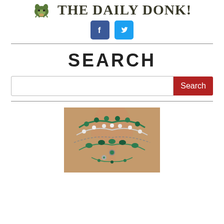THE DAILY DONK!
[Figure (logo): Facebook and Twitter social media icons]
SEARCH
[Figure (screenshot): Search input bar with red Search button]
[Figure (photo): Photo of a person wearing multiple layered green beaded necklaces]